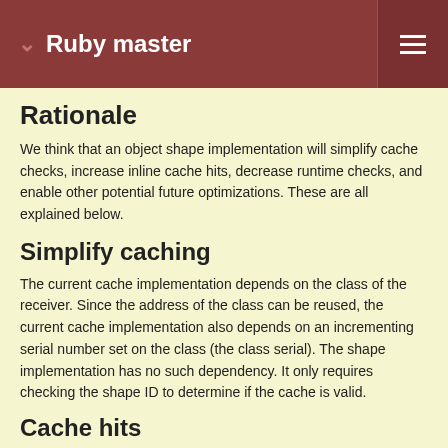Ruby master
Rationale
We think that an object shape implementation will simplify cache checks, increase inline cache hits, decrease runtime checks, and enable other potential future optimizations. These are all explained below.
Simplify caching
The current cache implementation depends on the class of the receiver. Since the address of the class can be reused, the current cache implementation also depends on an incrementing serial number set on the class (the class serial). The shape implementation has no such dependency. It only requires checking the shape ID to determine if the cache is valid.
Cache hits
Objects that set properties in the same order can share shapes. For example:
[Figure (screenshot): Code block showing Ruby code: class Hoge; def initialize]